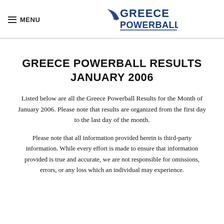≡ MENU  GREECE POWERBALL
GREECE POWERBALL RESULTS JANUARY 2006
Listed below are all the Greece Powerball Results for the Month of January 2006. Please note that results are organized from the first day to the last day of the month.
Please note that all information provided herein is third-party information. While every effort is made to ensure that information provided is true and accurate, we are not responsible for omissions, errors, or any loss which an individual may experience.